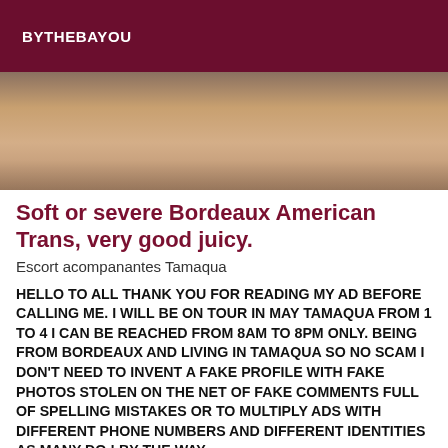BYTHEBAYOU
[Figure (photo): Partial photo showing a human torso/body, warm skin tones, blurred/cropped]
Soft or severe Bordeaux American Trans, very good juicy.
Escort acompanantes Tamaqua
HELLO TO ALL THANK YOU FOR READING MY AD BEFORE CALLING ME. I WILL BE ON TOUR IN MAY TAMAQUA FROM 1 TO 4 I CAN BE REACHED FROM 8AM TO 8PM ONLY. BEING FROM BORDEAUX AND LIVING IN TAMAQUA SO NO SCAM I DON'T NEED TO INVENT A FAKE PROFILE WITH FAKE PHOTOS STOLEN ON THE NET OF FAKE COMMENTS FULL OF SPELLING MISTAKES OR TO MULTIPLY ADS WITH DIFFERENT PHONE NUMBERS AND DIFFERENT IDENTITIES AS MANY DO ! BY THE WAY